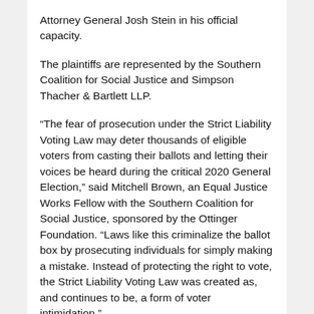Attorney General Josh Stein in his official capacity.
The plaintiffs are represented by the Southern Coalition for Social Justice and Simpson Thacher & Bartlett LLP.
“The fear of prosecution under the Strict Liability Voting Law may deter thousands of eligible voters from casting their ballots and letting their voices be heard during the critical 2020 General Election,” said Mitchell Brown, an Equal Justice Works Fellow with the Southern Coalition for Social Justice, sponsored by the Ottinger Foundation. “Laws like this criminalize the ballot box by prosecuting individuals for simply making a mistake. Instead of protecting the right to vote, the Strict Liability Voting Law was created as, and continues to be, a form of voter intimidation.